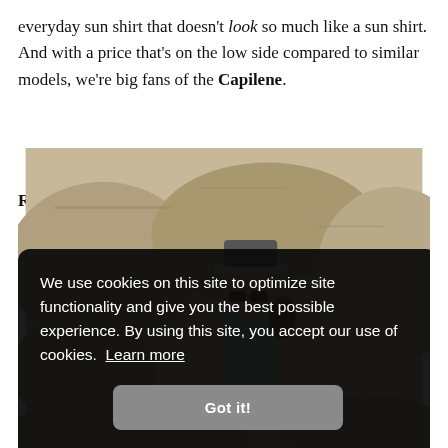everyday sun shirt that doesn't look so much like a sun shirt. And with a price that's on the low side compared to similar models, we're big fans of the Capilene.
Read review: Patagonia Capilene Cool Daily
[Figure (photo): Woman wearing sunglasses and a trucker cap sitting among large granite rocks outdoors, partially obscured by a cookie consent overlay.]
We use cookies on this site to optimize site functionality and give you the best possible experience. By using this site, you accept our use of cookies. Learn more
Got it!